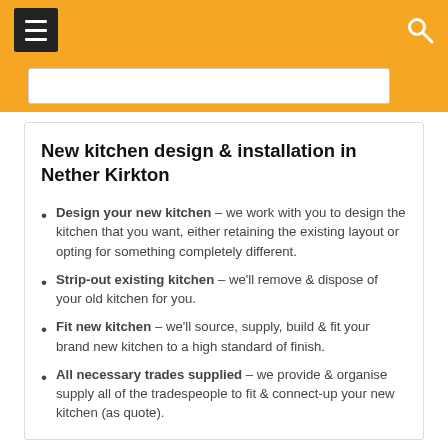Navigation header with hamburger menu and search icon
New kitchen design & installation in Nether Kirkton
Design your new kitchen – we work with you to design the kitchen that you want, either retaining the existing layout or opting for something completely different.
Strip-out existing kitchen – we'll remove & dispose of your old kitchen for you.
Fit new kitchen – we'll source, supply, build & fit your brand new kitchen to a high standard of finish.
All necessary trades supplied – we provide & organise supply all of the tradespeople to fit & connect-up your new kitchen (as quote).